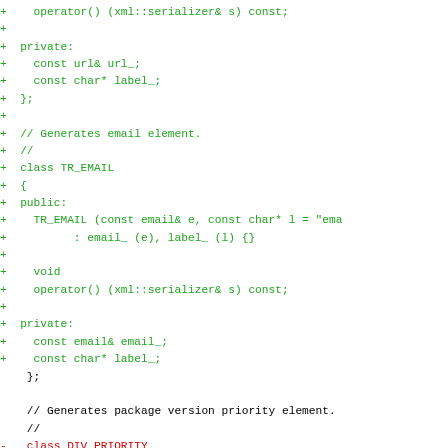[Figure (screenshot): Code diff showing C++ class definitions with added lines (green +) and removed lines (red -). Shows TR_URL operator, private members, TR_EMAIL class, its members, and beginning of TR_PRIORITY/DIV_PRIORITY class change.]